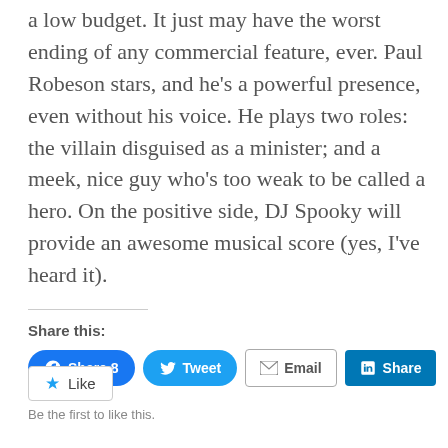a low budget. It just may have the worst ending of any commercial feature, ever. Paul Robeson stars, and he's a powerful presence, even without his voice. He plays two roles: the villain disguised as a minister; and a meek, nice guy who's too weak to be called a hero. On the positive side, DJ Spooky will provide an awesome musical score (yes, I've heard it).
Share this:
[Figure (screenshot): Social sharing buttons: Facebook Share 8, Tweet, Email, LinkedIn Share]
[Figure (screenshot): Like button widget with star icon]
Be the first to like this.